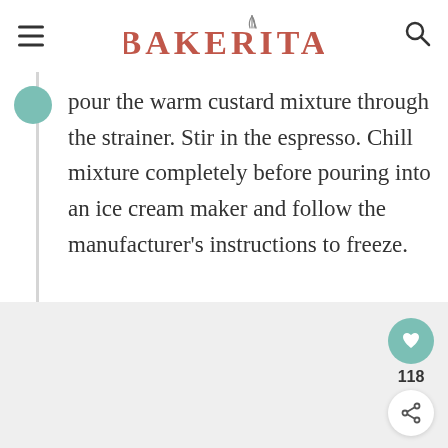BAKERITA
pour the warm custard mixture through the strainer. Stir in the espresso. Chill mixture completely before pouring into an ice cream maker and follow the manufacturer's instructions to freeze.